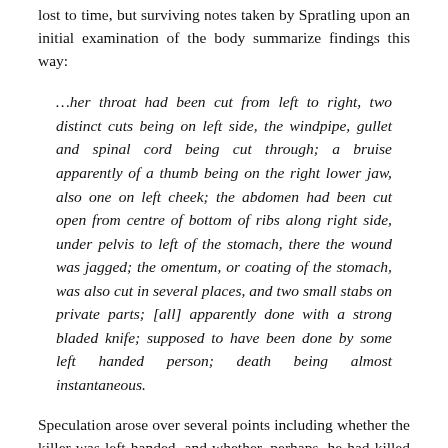lost to time, but surviving notes taken by Spratling upon an initial examination of the body summarize findings this way:
…her throat had been cut from left to right, two distinct cuts being on left side, the windpipe, gullet and spinal cord being cut through; a bruise apparently of a thumb being on the right lower jaw, also one on left cheek; the abdomen had been cut open from centre of bottom of ribs along right side, under pelvis to left of the stomach, there the wound was jagged; the omentum, or coating of the stomach, was also cut in several places, and two small stabs on private parts; [all] apparently done with a strong bladed knife; supposed to have been done by some left handed person; death being almost instantaneous.
Speculation arose over several points including whether the killer was left-handed, and whether, perhaps, he had killed her in a separate location and then left her on Buck's Row. This